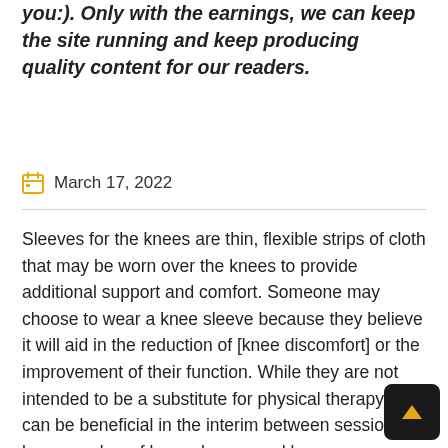you:). Only with the earnings, we can keep the site running and keep producing quality content for our readers.
March 17, 2022
Sleeves for the knees are thin, flexible strips of cloth that may be worn over the knees to provide additional support and comfort. Someone may choose to wear a knee sleeve because they believe it will aid in the reduction of [knee discomfort] or the improvement of their function. While they are not intended to be a substitute for physical therapy, they can be beneficial in the interim between sessions. A large number of knee sleeves and braces were investigated, with each one being assessed for the following characteristics: material quality, the extent to which it is comfortable, breathable, and pricing range also. Each of the knee sleeves and braces included on this page has been proven to be the most effective